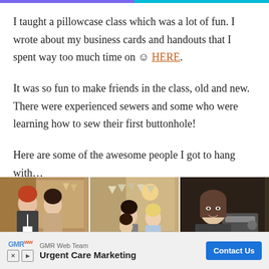I taught a pillowcase class which was a lot of fun. I wrote about my business cards and handouts that I spent way too much time on ☺ HERE.
It was so fun to make friends in the class, old and new. There were experienced sewers and some who were learning how to sew their first buttonhole!
Here are some of the awesome people I got to hang with…
[Figure (photo): Three side-by-side photos of people at a sewing class event. Left: two women smiling together in a decorated room. Center: a woman with a young girl and another woman in background, with bunting decoration. Right: a woman looking at the camera in a darker room.]
[Figure (other): Advertisement banner: GMR Web Team - Urgent Care Marketing with Contact Us button]